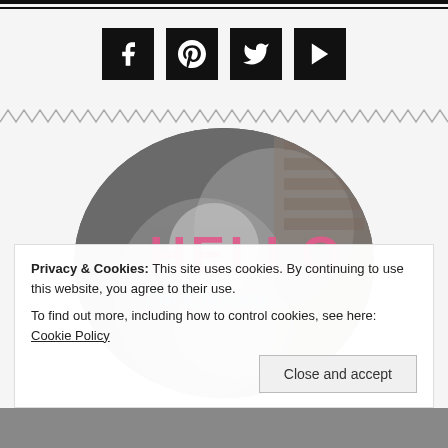[Figure (infographic): Social media icon buttons: Facebook, Pinterest, Twitter, YouTube — white icons on black square backgrounds]
[Figure (illustration): Zigzag/chevron wave decorative divider in grey]
[Figure (photo): Circular cropped black and white photo of a woman holding a baby, with overlaid text HELLO and 'I'm Chelsea' in pink and teal]
Privacy & Cookies: This site uses cookies. By continuing to use this website, you agree to their use.
To find out more, including how to control cookies, see here: Cookie Policy
Close and accept